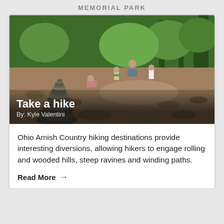MEMORIAL PARK
[Figure (photo): Outdoor scene in a wooded creek area with a tall cairn (stacked rocks) in the foreground and people including children hiking and exploring in the background. Lush green forest trees visible.]
Take a hike
By: Kyle Valentini
Ohio Amish Country hiking destinations provide interesting diversions, allowing hikers to engage rolling and wooded hills, steep ravines and winding paths.
Read More →